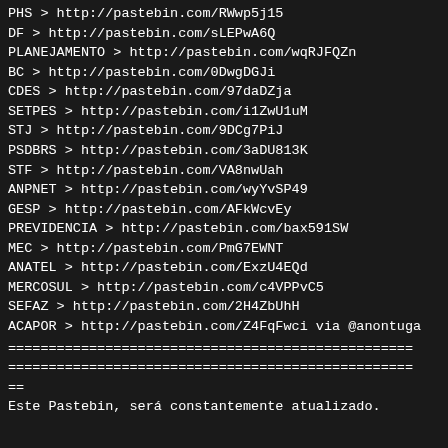PHS > http://pastebin.com/RWwp5j15
DF > http://pastebin.com/sLEPwA6Q
PLANEJAMENTO > http://pastebin.com/wqRJFQZn
BC > http://pastebin.com/0DwgDGJi
CDES > http://pastebin.com/97daDZja
SETPES > http://pastebin.com/i1ZwU1uM
STJ > http://pastebin.com/9DCg7PiJ
PSDBRS > http://pastebin.com/3aDU813K
STF > http://pastebin.com/VA8nwUah
ANPNET > http://pastebin.com/wyYvSP49
GESP > http://pastebin.com/AFkWcvEy
PREVIDENCIA > http://pastebin.com/bax591SW
MEC > http://pastebin.com/PmG7EWNT
ANATEL > http://pastebin.com/ExzU4EQd
MERCOSUL > http://pastebin.com/c4VPPvC5
SEFAZ > http://pastebin.com/2H4ZbUhH
ACAPOR > http://pastebin.com/Z4FqFwci via @anontuga
================================================== ================================================== == Este Pastebin, será constantemente atualizado.